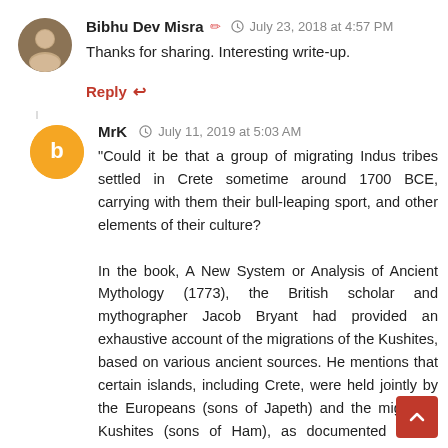Bibhu Dev Misra ✏ ⊙ July 23, 2018 at 4:57 PM
Thanks for sharing. Interesting write-up.
Reply ↩
MrK ⊙ July 11, 2019 at 5:03 AM
"Could it be that a group of migrating Indus tribes settled in Crete sometime around 1700 BCE, carrying with them their bull-leaping sport, and other elements of their culture?

In the book, A New System or Analysis of Ancient Mythology (1773), the British scholar and mythographer Jacob Bryant had provided an exhaustive account of the migrations of the Kushites, based on various ancient sources. He mentions that certain islands, including Crete, were held jointly by the Europeans (sons of Japeth) and the migrating Kushites (sons of Ham), as documented in the Chronicon